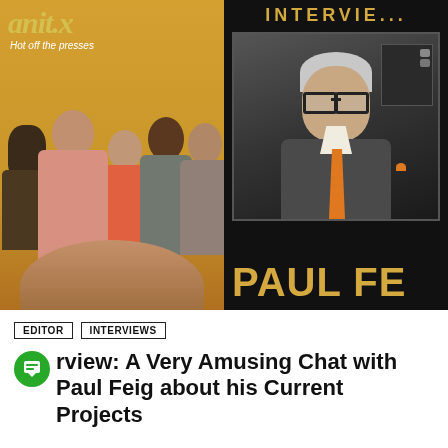[Figure (photo): Left: Movie/TV show poster with yellow background showing 'Hot off the presses' tagline and cast of characters in 1970s-style clothing. Right: Interview video still of Paul Feig, a man with gray hair and glasses wearing a dark suit with orange tie, labeled 'PAUL FE...' (cut off) with 'INTERVIEW' header.]
EDITOR   INTERVIEWS
rview: A Very Amusing Chat with Paul Feig about his Current Projects